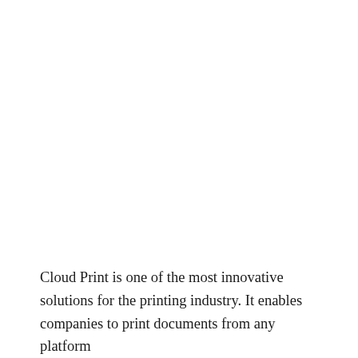Cloud Print is one of the most innovative solutions for the printing industry. It enables companies to print documents from any platform and from anywhere. The printing can be done offline, which is...